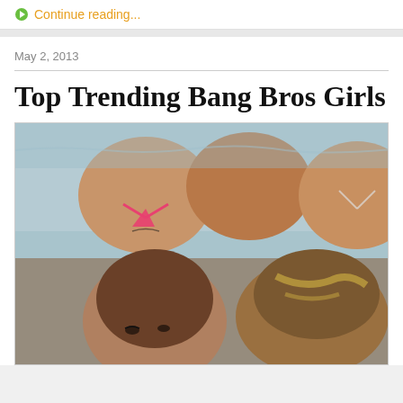Continue reading...
May 2, 2013
Top Trending Bang Bros Girls T
[Figure (photo): Three women in bikinis photographed from above near water]